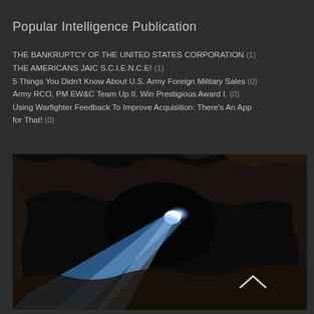Popular Intelligence Publication
THE BANKRUPTCY OF THE UNITED STATES CORPORATION (1)
THE AMERICANS JAIC S.C.I.E.N.C.E! (1)
5 Things You Didn't Know About U.S. Army Foreign Military Sales (0)
Army RCO, PM EW&C Team Up II. Win Prestigious Award I. (0)
Using Warfighter Feedback To Improve Acquisition: There's An App for That! (0)
[Figure (photo): Dark cave or tunnel interior with a bright blue-white light beam cutting through the darkness, rocky walls visible, with a caret/chevron arrow symbol in the lower right corner.]